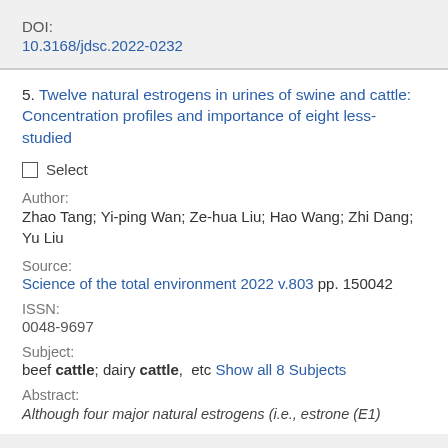DOI:
10.3168/jdsc.2022-0232
5. Twelve natural estrogens in urines of swine and cattle: Concentration profiles and importance of eight less-studied
Select
Author:
Zhao Tang; Yi-ping Wan; Ze-hua Liu; Hao Wang; Zhi Dang; Yu Liu
Source:
Science of the total environment 2022 v.803 pp. 150042
ISSN:
0048-9697
Subject:
beef cattle; dairy cattle,  etc Show all 8 Subjects
Abstract:
Although four major natural estrogens (i.e., estrone (E1)